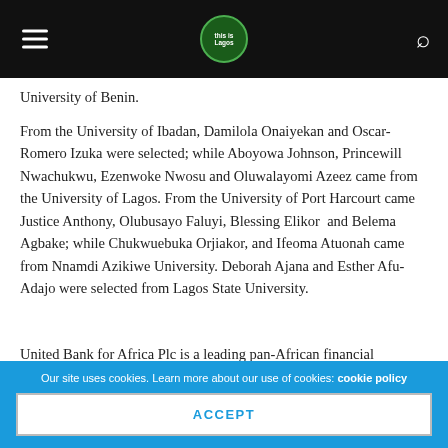This is Lagos
University of Benin.
From the University of Ibadan, Damilola Onaiyekan and Oscar-Romero Izuka were selected; while Aboyowa Johnson, Princewill Nwachukwu, Ezenwoke Nwosu and Oluwalayomi Azeez came from the University of Lagos. From the University of Port Harcourt came Justice Anthony, Olubusayo Faluyi, Blessing Elikor  and Belema Agbake; while Chukwuebuka Orjiakor, and Ifeoma Atuonah came from Nnamdi Azikiwe University. Deborah Ajana and Esther Afu-Adajo were selected from Lagos State University.
United Bank for Africa Plc is a leading pan-African financial
Our site uses cookies. Learn more about our use of cookies: cookie policy
ACCEPT